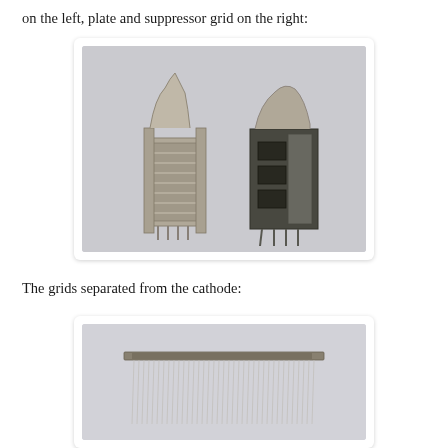on the left, plate and suppressor grid on the right:
[Figure (photo): Two disassembled vacuum tube components side by side on a light purple/grey background. Left component shows the cathode/grid assembly with thin wire grids visible. Right component shows the plate and suppressor grid assembly, darker colored block-like structure with rectangular cutouts.]
The grids separated from the cathode:
[Figure (photo): A single grid structure separated from the cathode, showing a comb-like component with a horizontal bar at top and many thin parallel wires/pins hanging down, photographed on a light background.]